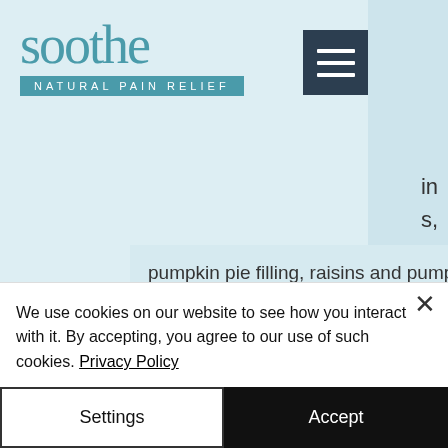[Figure (logo): Soothe Natural Pain Relief logo with teal/blue serif wordmark and subtitle banner]
in s,
pumpkin pie filling, raisins and pumpkin seeds, cjc-1295 fat loss results.
Some research indicates that other natural amino acids like arginine and lysine increase weight loss after just one week on Cardarine and that the body might just adjust to your new dietary state faster than if you took a
We use cookies on our website to see how you interact with it. By accepting, you agree to our use of such cookies. Privacy Policy
Settings
Accept